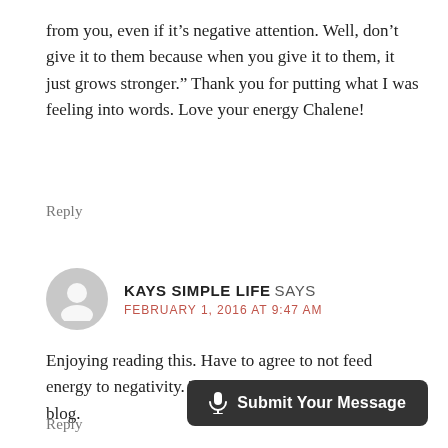from you, even if it’s negative attention. Well, don’t give it to them because when you give it to them, it just grows stronger.” Thank you for putting what I was feeling into words. Love your energy Chalene!
Reply
KAYS SIMPLE LIFE SAYS
FEBRUARY 1, 2016 AT 9:47 AM
Enjoying reading this. Have to agree to not feed energy to negativity. Thank you for such an interesting blog.
Reply
Submit Your Message